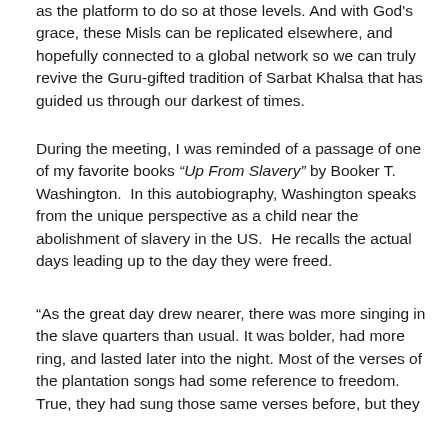as the platform to do so at those levels. And with God's grace, these Misls can be replicated elsewhere, and hopefully connected to a global network so we can truly revive the Guru-gifted tradition of Sarbat Khalsa that has guided us through our darkest of times.
During the meeting, I was reminded of a passage of one of my favorite books “Up From Slavery” by Booker T. Washington.  In this autobiography, Washington speaks from the unique perspective as a child near the abolishment of slavery in the US.  He recalls the actual days leading up to the day they were freed.
“As the great day drew nearer, there was more singing in the slave quarters than usual. It was bolder, had more ring, and lasted later into the night. Most of the verses of the plantation songs had some reference to freedom. True, they had sung those same verses before, but they